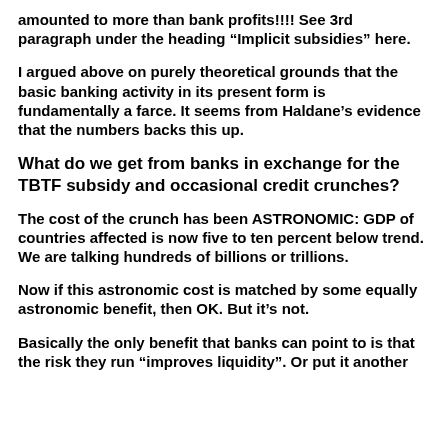amounted to more than bank profits!!!! See 3rd paragraph under the heading “Implicit subsidies” here.
I argued above on purely theoretical grounds that the basic banking activity in its present form is fundamentally a farce. It seems from Haldane’s evidence that the numbers backs this up.
What do we get from banks in exchange for the TBTF subsidy and occasional credit crunches?
The cost of the crunch has been ASTRONOMIC: GDP of countries affected is now five to ten percent below trend. We are talking hundreds of billions or trillions.
Now if this astronomic cost is matched by some equally astronomic benefit, then OK. But it’s not.
Basically the only benefit that banks can point to is that the risk they run “improves liquidity”. Or put it another